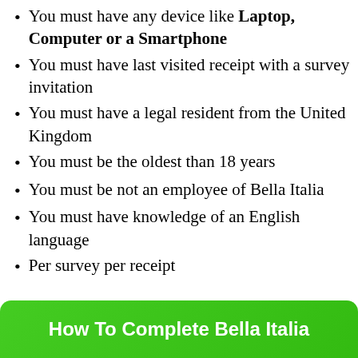You must have any device like Laptop, Computer or a Smartphone
You must have last visited receipt with a survey invitation
You must have a legal resident from the United Kingdom
You must be the oldest than 18 years
You must be not an employee of Bella Italia
You must have knowledge of an English language
Per survey per receipt
How To Complete Bella Italia